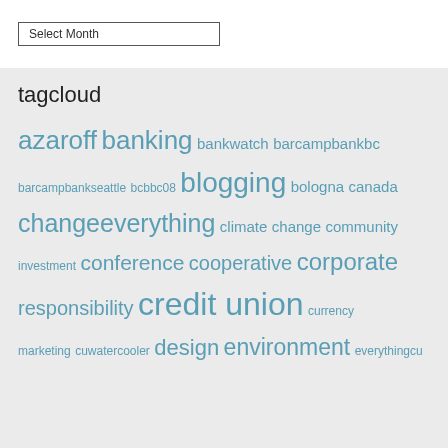Select Month
tagcloud
azaroff banking bankwatch barcampbankbc barcampbankseattle bcbbc08 blogging bologna canada changeeverything climate change community investment conference cooperative corporate responsibility credit union currency marketing cuwatercooler design environment everythingcu